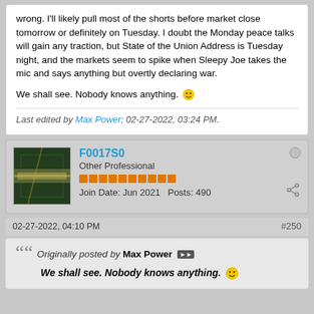wrong. I'll likely pull most of the shorts before market close tomorrow or definitely on Tuesday. I doubt the Monday peace talks will gain any traction, but State of the Union Address is Tuesday night, and the markets seem to spike when Sleepy Joe takes the mic and says anything but overtly declaring war.

We shall see. Nobody knows anything. 🙂
Last edited by Max Power; 02-27-2022, 03:24 PM.
F0017S0
Other Professional
Join Date: Jun 2021   Posts: 490
02-27-2022, 04:10 PM
#250
Originally posted by Max Power
We shall see. Nobody knows anything. 🙂